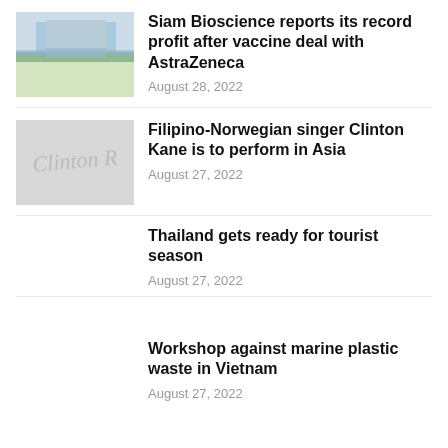[Figure (photo): Outdoor scene with lake and building reflection]
Siam Bioscience reports its record profit after vaccine deal with AstraZeneca
August 28, 2022
[Figure (illustration): Signature/logo in light gray on gray background]
Filipino-Norwegian singer Clinton Kane is to perform in Asia
August 27, 2022
Thailand gets ready for tourist season
August 27, 2022
Workshop against marine plastic waste in Vietnam
August 27, 2022